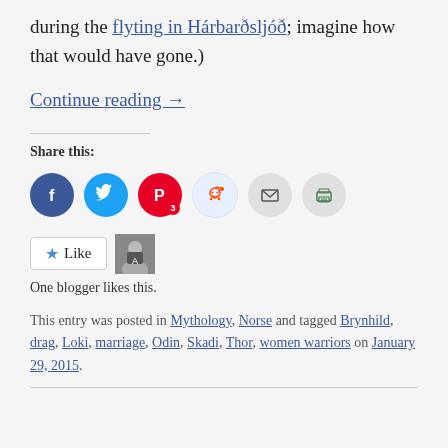during the flyting in Hárbarðsljóð; imagine how that would have gone.)
Continue reading →
Share this:
[Figure (infographic): Social sharing icons: Facebook (blue circle), Twitter (blue circle), Pinterest (red circle with badge 3), Reddit (light blue circle), Email (grey circle with envelope), Print (grey circle with printer icon)]
[Figure (infographic): Like button with star icon and a blogger avatar thumbnail. Text: One blogger likes this.]
One blogger likes this.
This entry was posted in Mythology, Norse and tagged Brynhild, drag, Loki, marriage, Odin, Skadi, Thor, women warriors on January 29, 2015.